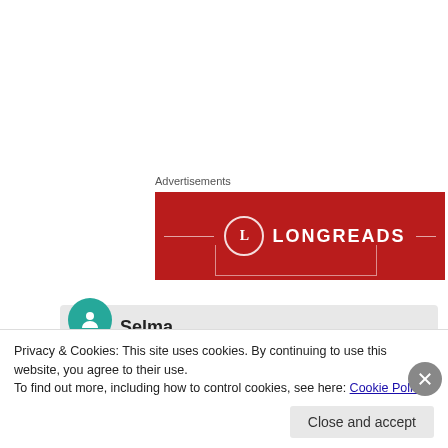Advertisements
[Figure (logo): Longreads red banner advertisement with white circle L logo and LONGREADS text in white on dark red background]
Selma
June 17, 2010 at 12:40 pm

Hi CATHY:

Oh, right on. If I hadn't spewed out the stuff I had
Privacy & Cookies: This site uses cookies. By continuing to use this website, you agree to their use.
To find out more, including how to control cookies, see here: Cookie Policy
Close and accept